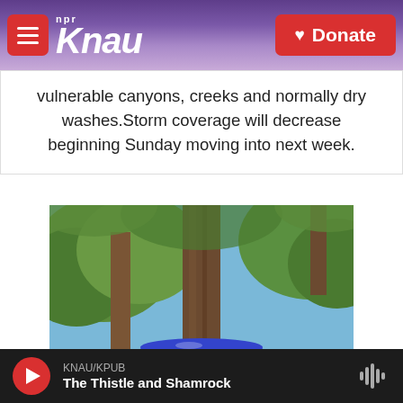KNAU NPR | Donate
vulnerable canyons, creeks and normally dry washes.Storm coverage will decrease beginning Sunday moving into next week.
[Figure (photo): Outdoor scene with pine trees and a dark blue bird bath or bowl in the foreground, sky visible through trees]
KNAU/KPUB — The Thistle and Shamrock